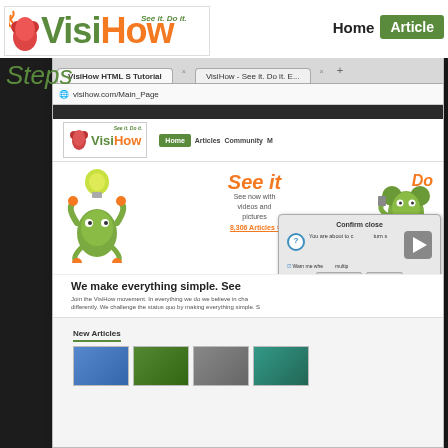[Figure (screenshot): VisiHow website screenshot showing logo, navigation with Home and Articles buttons, Steps label, browser window displaying VisiHow homepage with frog mascots, See it section, Do it section, confirm close dialog with play button, We make everything simple tagline, and New Articles section with thumbnail images.]